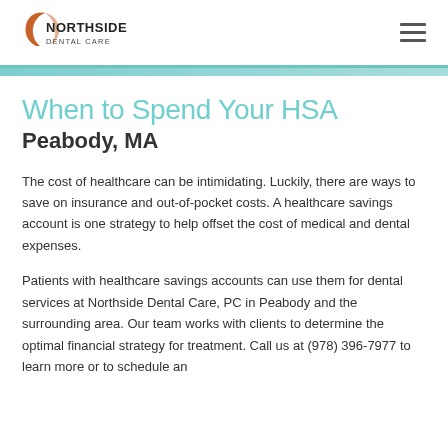NORTHSIDE DENTAL CARE
When to Spend Your HSA
Peabody, MA
The cost of healthcare can be intimidating. Luckily, there are ways to save on insurance and out-of-pocket costs. A healthcare savings account is one strategy to help offset the cost of medical and dental expenses.
Patients with healthcare savings accounts can use them for dental services at Northside Dental Care, PC in Peabody and the surrounding area. Our team works with clients to determine the optimal financial strategy for treatment. Call us at (978) 396-7977 to learn more or to schedule an